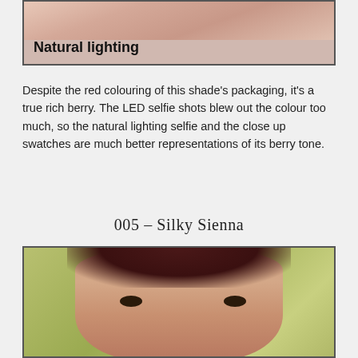[Figure (photo): Close-up photo with 'Natural lighting' text label overlay on skin/makeup swatch image]
Despite the red colouring of this shade's packaging, it's a true rich berry. The LED selfie shots blew out the colour too much, so the natural lighting selfie and the close up swatches are much better representations of its berry tone.
005 – Silky Sienna
[Figure (photo): Portrait photo of a woman with dark hair up, heavy eye makeup, looking directly at camera, against a olive/green background]